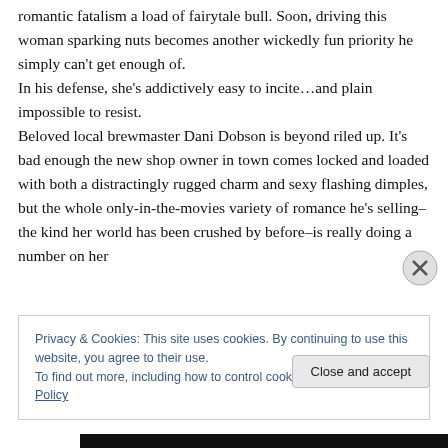romantic fatalism a load of fairytale bull. Soon, driving this woman sparking nuts becomes another wickedly fun priority he simply can't get enough of. In his defense, she's addictively easy to incite…and plain impossible to resist. Beloved local brewmaster Dani Dobson is beyond riled up. It's bad enough the new shop owner in town comes locked and loaded with both a distractingly rugged charm and sexy flashing dimples, but the whole only-in-the-movies variety of romance he's selling–the kind her world has been crushed by before–is really doing a number on her
Privacy & Cookies: This site uses cookies. By continuing to use this website, you agree to their use.
To find out more, including how to control cookies, see here: Cookie Policy
Close and accept